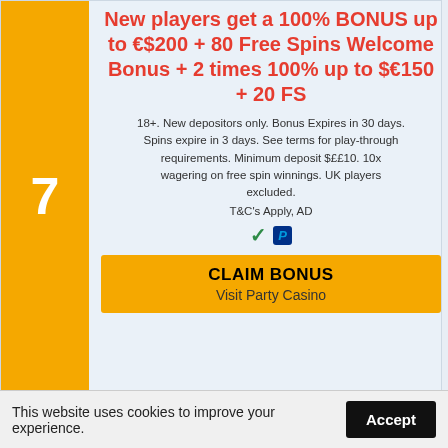7
New players get a 100% BONUS up to €$200 + 80 Free Spins Welcome Bonus + 2 times 100% up to $€150 + 20 FS
18+. New depositors only. Bonus Expires in 30 days. Spins expire in 3 days. See terms for play-through requirements. Minimum deposit $££10. 10x wagering on free spin winnings. UK players excluded. T&C's Apply, AD
[Figure (illustration): Checkmark icon in green and PayPal logo icon]
CLAIM BONUS
Visit Party Casino
[Figure (logo): Queen Casino logo - pink queen head with crown text 'Queen']
This website uses cookies to improve your experience.
Accept